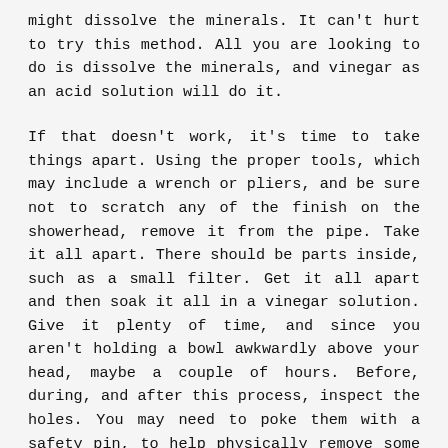might dissolve the minerals. It can't hurt to try this method. All you are looking to do is dissolve the minerals, and vinegar as an acid solution will do it.
If that doesn't work, it's time to take things apart. Using the proper tools, which may include a wrench or pliers, and be sure not to scratch any of the finish on the showerhead, remove it from the pipe. Take it all apart. There should be parts inside, such as a small filter. Get it all apart and then soak it all in a vinegar solution. Give it plenty of time, and since you aren't holding a bowl awkwardly above your head, maybe a couple of hours. Before, during, and after this process, inspect the holes. You may need to poke them with a safety pin, to help physically remove some of the deposits.
If vinegar doesn't work, a stronger solution made for removing mineral deposits can be used but be sure to wear safety gloves and eye protection if you do this. The same procedures can be followed as already detailed.